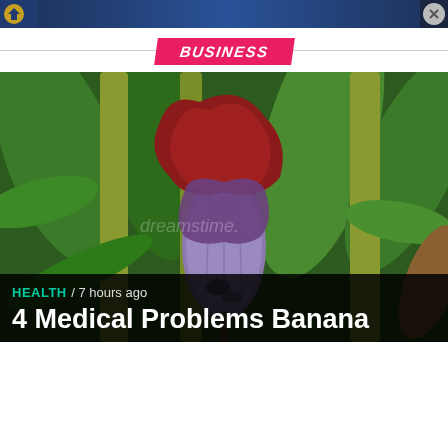[Figure (screenshot): Advertisement banner at top of page with dark blue gradient background and close button]
BUSINESS
[Figure (photo): Close-up photo of a banana flower/blossom (banana heart) with dark red/maroon petal and purple-grey bud, surrounded by green banana leaves. Dreamstime watermark visible.]
HEALTH / 7 hours ago
4 Medical Problems Banana